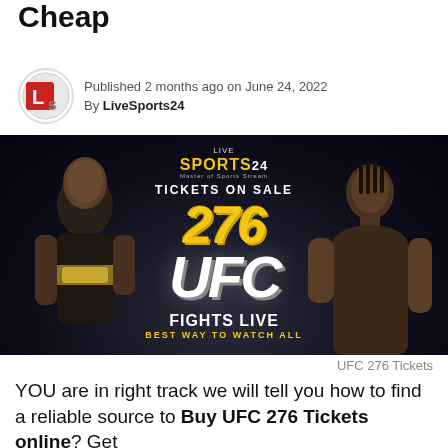Cheap
Published 2 months ago on June 24, 2022
By LiveSports24
[Figure (photo): UFC 276 promotional image showing two fighters facing each other with text 'LIVE SPORTS 24', 'TICKETS ON SALE', '276', 'UFC', 'FIGHTS LIVE', 'BEST WAY TO WATCH ALL']
UFC 276 Tickets
YOU are in right track we will tell you how to find a reliable source to Buy UFC 276 Tickets online? Get